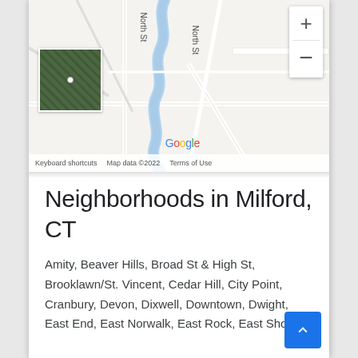[Figure (map): Google Maps screenshot showing a street/terrain map with a blue river/stream running roughly north-south, a road labeled 'North St', satellite thumbnail in lower-left corner, zoom controls (+/-) in upper-right, Google logo watermark, and footer with 'Keyboard shortcuts', 'Map data ©2022', 'Terms of Use']
Neighborhoods in Milford, CT
Amity, Beaver Hills, Broad St & High St, Brooklawn/St. Vincent, Cedar Hill, City Point, Cranbury, Devon, Dixwell, Downtown, Dwight, East End, East Norwalk, East Rock, East Shore